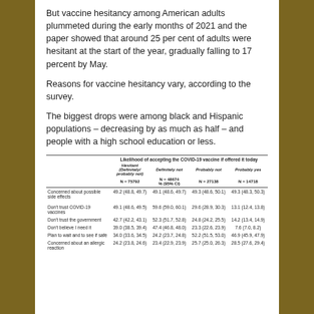But vaccine hesitancy among American adults plummeted during the early months of 2021 and the paper showed that around 25 per cent of adults were hesitant at the start of the year, gradually falling to 17 percent by May.
Reasons for vaccine hesitancy vary, according to the survey.
The biggest drops were among black and Hispanic populations – decreasing by as much as half – and people with a high school education or less.
|  | Hesitant (Definitely/probably not) N = 75792 | Definitely not N = 48674 | Probably not N = 27138 | Probably yes N = 14718 |
| --- | --- | --- | --- | --- |
| Concerned about possible side effects | 49.2 (48.8, 49.7) | 49.1 (48.6, 49.7) | 49.3 (48.6, 50.1) | 49.3 (48.3, 50.3) |
| Don't trust COVID-19 vaccines | 49.1 (48.6, 49.5) | 59.6 (59.0, 60.1) | 29.6 (28.9, 30.3) | 13.1 (12.4, 13.8) |
| Don't trust the government | 42.7 (42.2, 43.1) | 52.3 (51.7, 52.8) | 24.8 (24.2, 25.5) | 14.2 (13.4, 14.9) |
| Don't believe I need it | 39.0 (38.5, 39.4) | 47.4 (46.8, 48.0) | 23.3 (22.6, 23.9) | 7.6 (7.0, 8.2) |
| Plan to wait and to see if safe | 34.0 (33.6, 34.5) | 24.2 (23.7, 24.8) | 52.2 (51.5, 53.0) | 46.9 (45.9, 47.9) |
| Concerned about an allergic reaction | 24.2 (23.8, 24.6) | 23.4 (22.9, 23.9) | 25.7 (25.0, 26.3) | 28.5 (27.6, 29.4) |